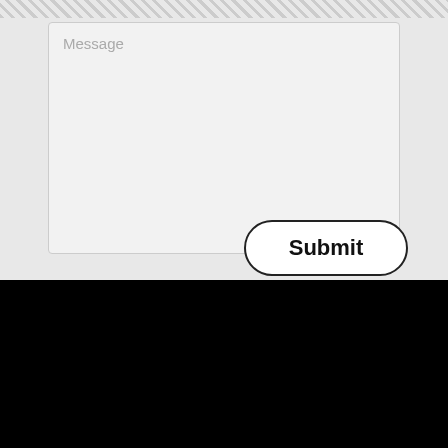[Figure (screenshot): A large text area input field with placeholder text 'Message' and a resize handle at the bottom right corner]
Submit
View our listing in the
iNFOTEL Multimedia
Business Directory.
[Figure (logo): iNFOTEL MULTIMEDIA logo — white and red text on black background with flame icon, captioned 'Website built by']
[Figure (other): reCAPTCHA badge with Privacy and Terms links]